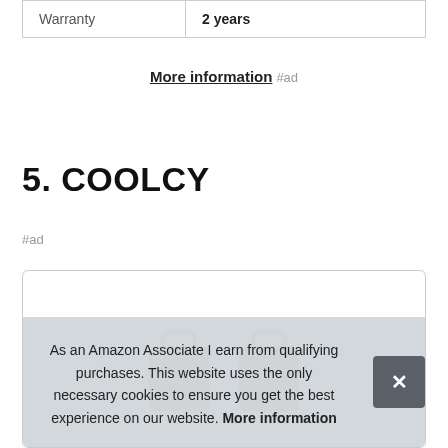| Warranty | 2 years |
More information #ad
5. COOLCY
#ad
[Figure (photo): Product image of COOLCY bags in tan/brown color inside a card]
As an Amazon Associate I earn from qualifying purchases. This website uses the only necessary cookies to ensure you get the best experience on our website. More information